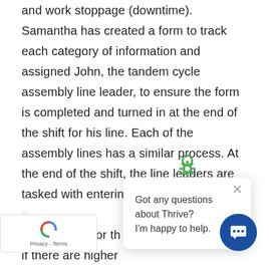and work stoppage (downtime). Samantha has created a form to track each category of information and assigned John, the tandem cycle assembly line leader, to ensure the form is completed and turned in at the end of the shift for his line. Each of the assembly lines has a similar process. At the end of the shift, the line leaders are tasked with entering the information into a spreadsheet for th if there are higher and defect issues for the day), except for nicycle line as they always seem to their own thing. Once the data is entered, the line leader then spends another
[Figure (screenshot): Chat popup overlay with gear icon, close button, and message: 'Got any questions about Thrive? I'm happy to help.']
[Figure (screenshot): Round dark blue chat button in bottom right corner]
[Figure (screenshot): Google reCAPTCHA badge in bottom left corner showing logo and 'Privacy - Terms' text]